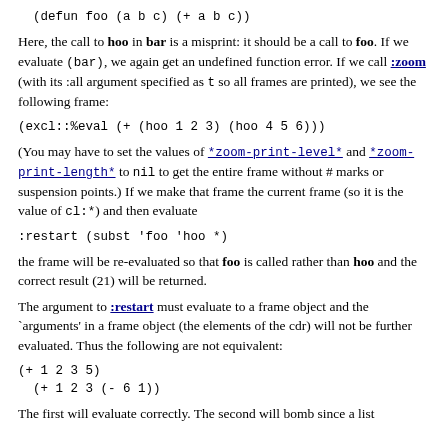(defun foo (a b c) (+ a b c))
Here, the call to hoo in bar is a misprint: it should be a call to foo. If we evaluate (bar), we again get an undefined function error. If we call :zoom (with its :all argument specified as t so all frames are printed), we see the following frame:
(excl::%eval (+ (hoo 1 2 3) (hoo 4 5 6)))
(You may have to set the values of *zoom-print-level* and *zoom-print-length* to nil to get the entire frame without # marks or suspension points.) If we make that frame the current frame (so it is the value of cl:*) and then evaluate
:restart (subst 'foo 'hoo *)
the frame will be re-evaluated so that foo is called rather than hoo and the correct result (21) will be returned.
The argument to :restart must evaluate to a frame object and the `arguments' in a frame object (the elements of the cdr) will not be further evaluated. Thus the following are not equivalent:
(+ 1 2 3 5)
  (+ 1 2 3 (- 6 1))
The first will evaluate correctly. The second will bomb since a list...